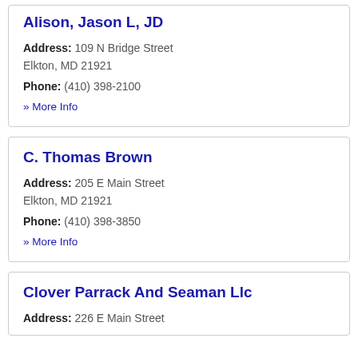Alison, Jason L, JD — Address: 109 N Bridge Street, Elkton, MD 21921 — Phone: (410) 398-2100 — » More Info
C. Thomas Brown — Address: 205 E Main Street, Elkton, MD 21921 — Phone: (410) 398-3850 — » More Info
Clover Parrack And Seaman Llc — Address: 226 E Main Street